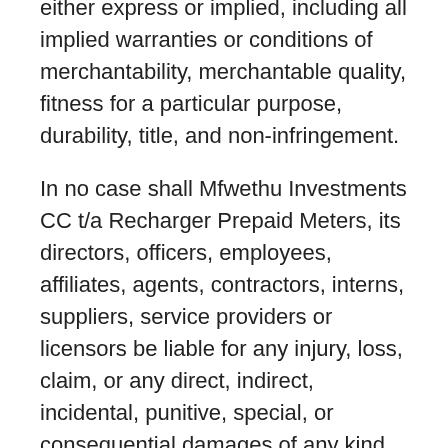either express or implied, including all implied warranties or conditions of merchantability, merchantable quality, fitness for a particular purpose, durability, title, and non-infringement.
In no case shall Mfwethu Investments CC t/a Recharger Prepaid Meters, its directors, officers, employees, affiliates, agents, contractors, interns, suppliers, service providers or licensors be liable for any injury, loss, claim, or any direct, indirect, incidental, punitive, special, or consequential damages of any kind, including, without limitation lost profits, lost revenue, lost savings, loss of data, replacement costs, or any similar damages, whether based in contract, tort (including negligence), strict liability,